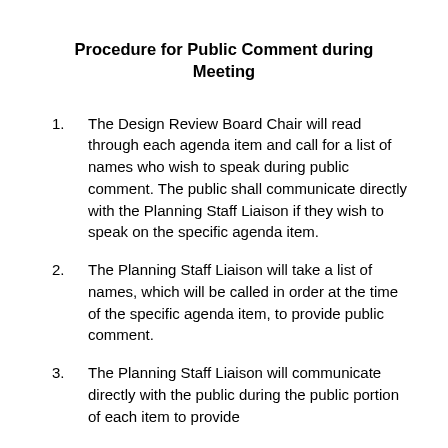Procedure for Public Comment during Meeting
1.    The Design Review Board Chair will read through each agenda item and call for a list of names who wish to speak during public comment. The public shall communicate directly with the Planning Staff Liaison if they wish to speak on the specific agenda item.
2.    The Planning Staff Liaison will take a list of names, which will be called in order at the time of the specific agenda item, to provide public comment.
3.    The Planning Staff Liaison will communicate directly with the public during the public portion of each item to provide